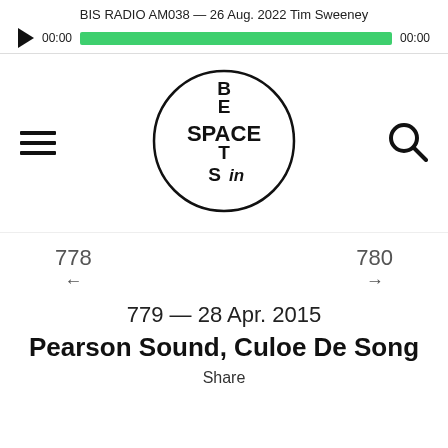BIS RADIO AM038 — 26 Aug. 2022 Tim Sweeney
[Figure (screenshot): Audio player with play button, time displays showing 00:00, and a green progress bar fully filled]
[Figure (logo): Beats in Space circular logo with the text arranged in a cross pattern: B, E, A, T, S vertically and SPACE horizontally, with 'in' in stylized text]
778
780
←
→
779 — 28 Apr. 2015
Pearson Sound, Culoe De Song
Share